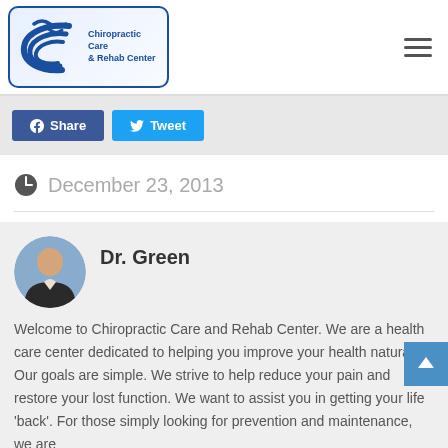Chiropractic Care & Rehab Center
Share  Tweet
December 23, 2013
Dr. Green
Welcome to Chiropractic Care and Rehab Center. We are a health care center dedicated to helping you improve your health naturally. Our goals are simple. We strive to help reduce your pain and restore your lost function. We want to assist you in getting your life 'back'. For those simply looking for prevention and maintenance, we are